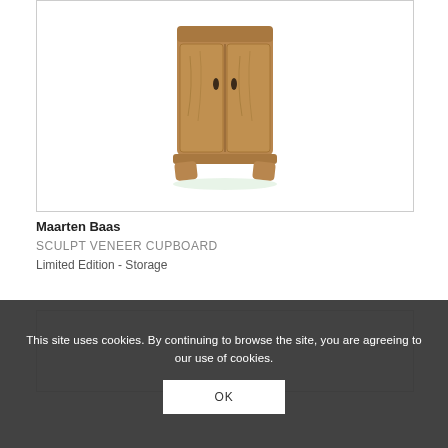[Figure (photo): Photo of Maarten Baas Sculpt Veneer Cupboard — a wooden cabinet with carved organic form, two doors with dark leather pulls, sitting on splayed feet, shown against white background]
Maarten Baas
SCULPT VENEER CUPBOARD
Limited Edition - Storage
[Figure (photo): Partially visible second product image at bottom of page, cut off by cookie banner]
This site uses cookies. By continuing to browse the site, you are agreeing to our use of cookies.
OK